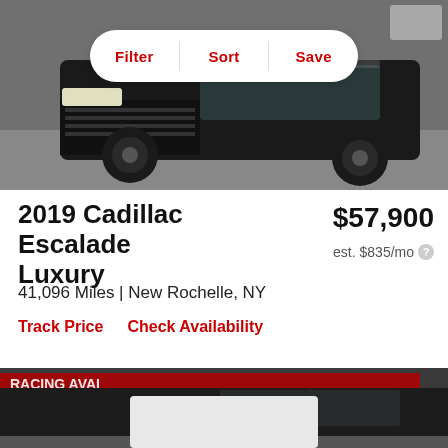[Figure (photo): Black Cadillac Escalade SUV front view, parking lot background, dark asphalt]
Filter  Sort  Save
2019 Cadillac Escalade Luxury
$57,900
est. $835/mo
41,096 Miles | New Rochelle, NY
Track Price   Check Availability
[Figure (photo): Black Cadillac Escalade SUV side view at dealership with signage in background, heart/save icon visible]